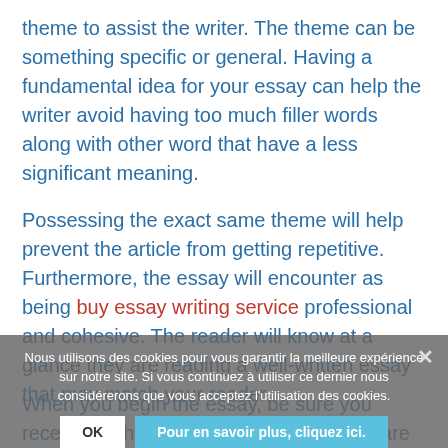theme to assist the writer. The theme can be something specific or general. Having a fundamental idea for your essay can help the writer avoid having too much filler words along with other word that have a less significant meaning.
Possessing the exact same theme will help prevent the article from getting repetitive. Furthermore, the essay will encounter as being buy essay writing service professional and cohesive. The reader will know at a glance they are reading a well-written essay that may match your reader.
Nous utilisons des cookies pour vous garantir la meilleure expérience sur notre site. Si vous continuez à utiliser ce dernier nous considérerons que vous acceptez l'utilisation des cookies.
When you begin the essay, be sure you receive all the necessary tools and software to make it an acceptable one. Have all of the software, processes, and tools that you need to finish the article before you begin writing it.